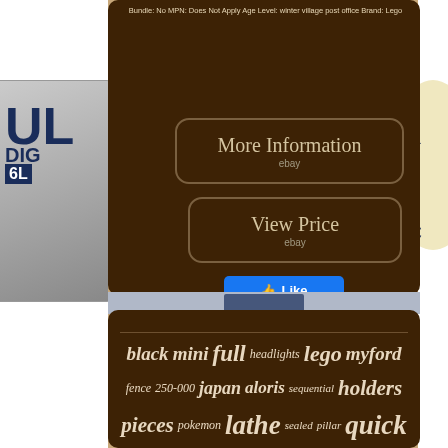Bundle: No MPN: Does Not Apply Age Level: winter village post office Brand: Lego
[Figure (screenshot): More Information button with ebay label, dark brown rounded rectangle]
[Figure (screenshot): View Price button with ebay label, dark brown rounded rectangle]
[Figure (screenshot): Facebook Like button in blue]
black mini full headlights lego myford fence 250-000 japan aloris sequential holders pieces pokemon lathe sealed pillar quick